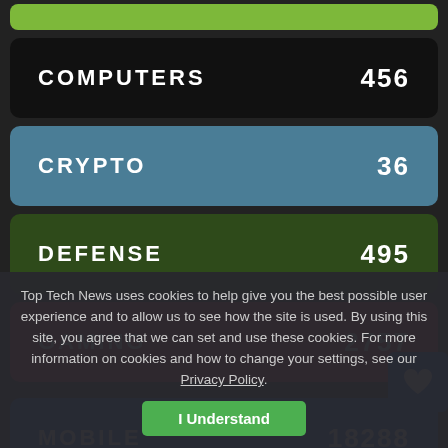COMPUTERS 456
CRYPTO 36
DEFENSE 495
GAMING 2757
MOBILE 18288
NEWS 35023
Top Tech News uses cookies to help give you the best possible user experience and to allow us to see how the site is used. By using this site, you agree that we can set and use these cookies. For more information on cookies and how to change your settings, see our Privacy Policy.
I Understand